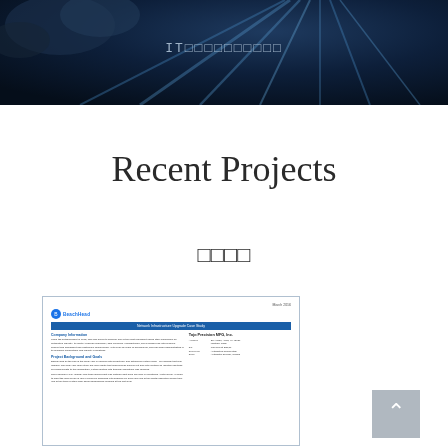[Figure (photo): Dark navy hero banner with light rays emanating from upper right, dark cloudy atmosphere]
IT□□□□□□□□□□
Recent Projects
□□□□
[Figure (screenshot): Preview of a BeachHead document titled 'Network Infrastructure Upgrade Case Study' with blue header bar, company information section, project background and goals section, and Tojo Precision MFG. Inc. company details on the right side]